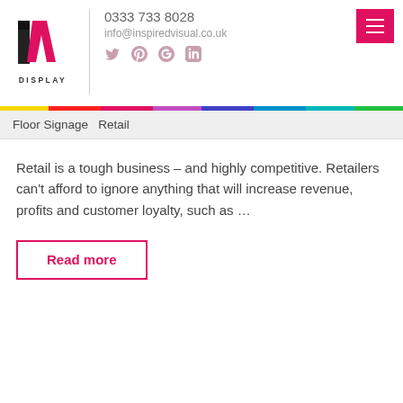[Figure (logo): IV Display company logo with stylized I and V letters in black, magenta and yellow, with text DISPLAY below]
0333 733 8028
info@inspiredvisual.co.uk
Floor Signage   Retail
Retail is a tough business – and highly competitive. Retailers can't afford to ignore anything that will increase revenue, profits and customer loyalty, such as …
Read more